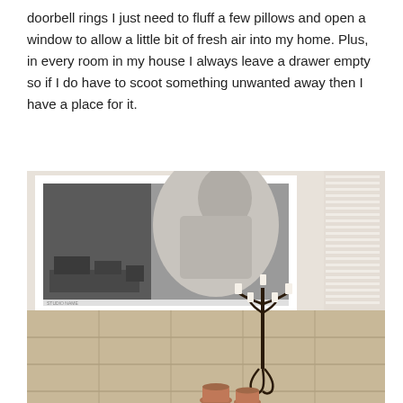doorbell rings I just need to fluff a few pillows and open a window to allow a little bit of fresh air into my home. Plus, in every room in my house I always leave a drawer empty so if I do have to scoot something unwanted away then I have a place for it.
[Figure (photo): A bathroom interior showing a framed black-and-white photo of a woman on a white wall above tan/beige ceramic tiles, with a wrought iron candelabra holding candles in the corner and small terracotta pots on the floor.]